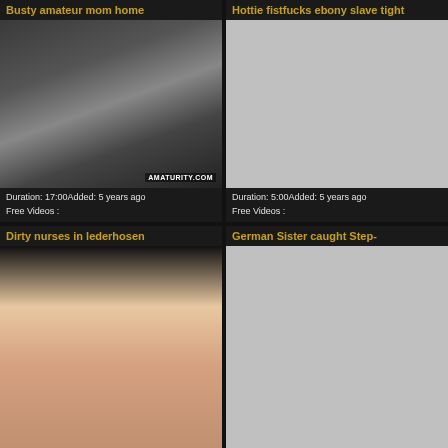Busty amateur mom home
[Figure (photo): Video thumbnail showing a person with blonde hair, dark background, watermark AMATURITY.COM]
Duration: 17:00Added: 5 years ago
Free Videos :
Hottie fistfucks ebony slave tight
[Figure (photo): Light gray placeholder thumbnail]
Duration: 5:00Added: 5 years ago
Free Videos :
Dirty nurses in lederhosen
[Figure (photo): Video thumbnail showing a woman on a pink/light surface]
German Sister caught Step-
[Figure (photo): Light gray placeholder thumbnail]